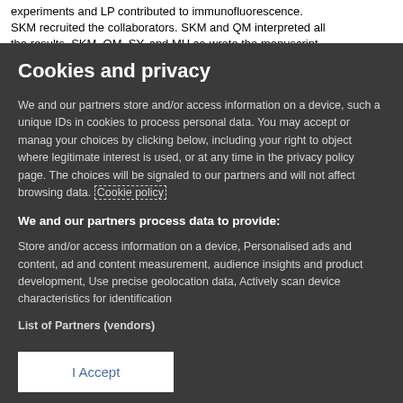experiments and LP contributed to immunofluorescence. SKM recruited the collaborators. SKM and QM interpreted all the results. SKM, QM, SY, and MH co-wrote the manuscript.
Cookies and privacy
We and our partners store and/or access information on a device, such as unique IDs in cookies to process personal data. You may accept or manage your choices by clicking below, including your right to object where legitimate interest is used, or at any time in the privacy policy page. These choices will be signaled to our partners and will not affect browsing data. Cookie policy
We and our partners process data to provide:
Store and/or access information on a device, Personalised ads and content, ad and content measurement, audience insights and product development, Use precise geolocation data, Actively scan device characteristics for identification
List of Partners (vendors)
I Accept